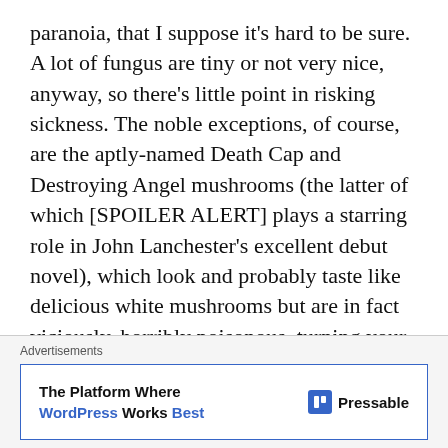paranoia, that I suppose it's hard to be sure. A lot of fungus are tiny or not very nice, anyway, so there's little point in risking sickness. The noble exceptions, of course, are the aptly-named Death Cap and Destroying Angel mushrooms (the latter of which [SPOILER ALERT] plays a starring role in John Lanchester's excellent debut novel), which look and probably taste like delicious white mushrooms but are in fact viciously, horribly poisonous, turning your organs against each other and shutting down the entire mechanism which keeps you alive; stay away from white
Advertisements
[Figure (screenshot): Advertisement banner for Pressable WordPress hosting: 'The Platform Where WordPress Works Best' with Pressable logo on the right]